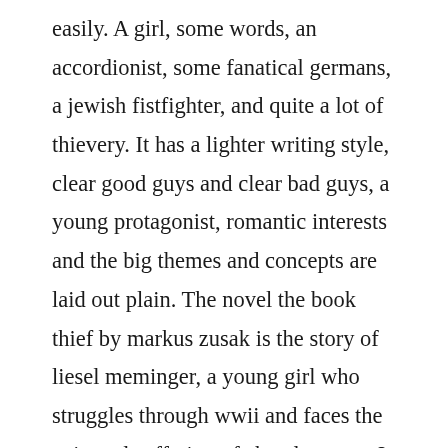easily. A girl, some words, an accordionist, some fanatical germans, a jewish fistfighter, and quite a lot of thievery. It has a lighter writing style, clear good guys and clear bad guys, a young protagonist, romantic interests and the big themes and concepts are laid out plain. The novel the book thief by markus zusak is the story of liesel meminger, a young girl who struggles through wwii and faces the pain and suffering of abandonment. It is the kind of book that draws you in and holds you even past the last page. Before leaving, he picks up the writing made by liesel, he reads